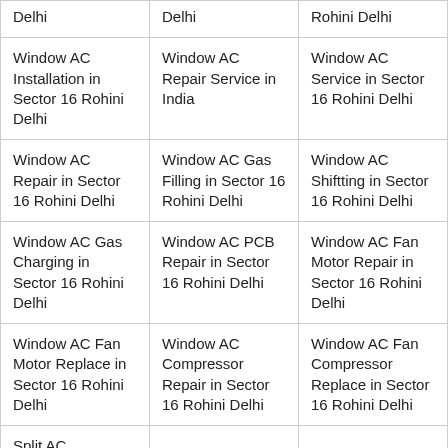| Delhi | Delhi | Rohini Delhi |
| Window AC Installation in Sector 16 Rohini Delhi | Window AC Repair Service in India | Window AC Service in Sector 16 Rohini Delhi |
| Window AC Repair in Sector 16 Rohini Delhi | Window AC Gas Filling in Sector 16 Rohini Delhi | Window AC Shiftting in Sector 16 Rohini Delhi |
| Window AC Gas Charging in Sector 16 Rohini Delhi | Window AC PCB Repair in Sector 16 Rohini Delhi | Window AC Fan Motor Repair in Sector 16 Rohini Delhi |
| Window AC Fan Motor Replace in Sector 16 Rohini Delhi | Window AC Compressor Repair in Sector 16 Rohini Delhi | Window AC Fan Compressor Replace in Sector 16 Rohini Delhi |
| Split AC Compressor ... |  |  |